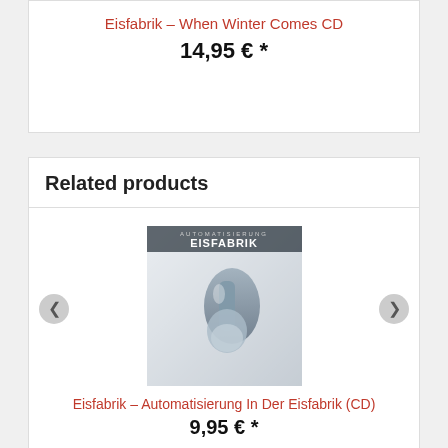Eisfabrik – When Winter Comes CD
14,95 € *
Related products
[Figure (photo): Album cover for Eisfabrik – Automatisierung In Der Eisfabrik showing a robotic arm against a white background with EISFABRIK text]
Eisfabrik – Automatisierung In Der Eisfabrik (CD)
9,95 € *